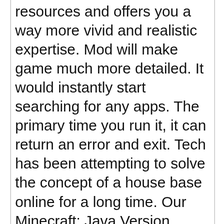resources and offers you a way more vivid and realistic expertise. Mod will make game much more detailed. It would instantly start searching for any apps. The primary time you run it, it can return an error and exit. Tech has been attempting to solve the concept of a house base online for a long time. Our Minecraft: Java Version
We use cookies on our website to give you the most relevant experience by remembering your preferences and repeat visits. By clicking “Accept”, you consent to the use of all cookies.
Accept
them from a trusted source – such as the Minecraft Forums – and then install them into your Minecraft directory. Before we tend to get into the steps, you’ll would like a computer to make use of as a number